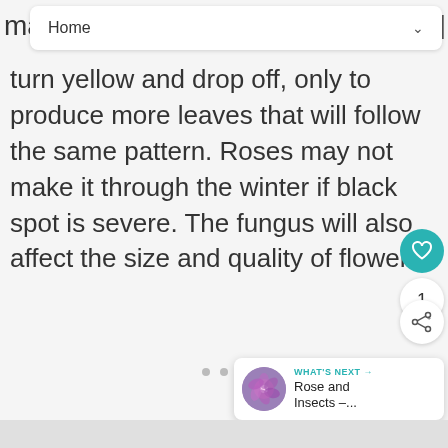Home
turn yellow and drop off, only to produce more leaves that will follow the same pattern. Roses may not make it through the winter if black spot is severe. The fungus will also affect the size and quality of flowers.
[Figure (photo): Flower photo thumbnail for 'What's Next: Rose and Insects']
WHAT'S NEXT → Rose and Insects –...